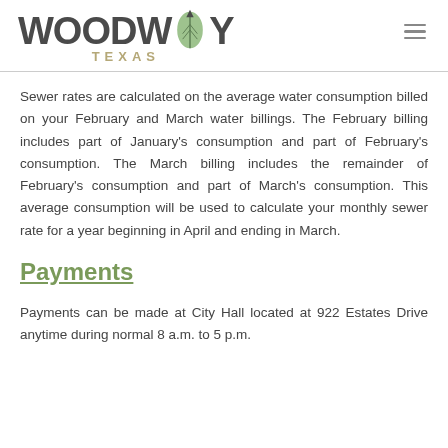WOODWAY TEXAS
Sewer rates are calculated on the average water consumption billed on your February and March water billings. The February billing includes part of January's consumption and part of February's consumption. The March billing includes the remainder of February's consumption and part of March's consumption. This average consumption will be used to calculate your monthly sewer rate for a year beginning in April and ending in March.
Payments
Payments can be made at City Hall located at 922 Estates Drive anytime during normal 8 a.m. to 5 p.m.